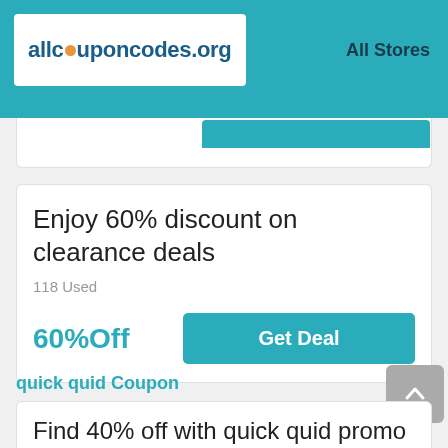allcouponcodes.org — All Stores
Enjoy 60% discount on clearance deals
118 Used
60%Off
Get Deal
quick quid Coupon
Find 40% off with quick quid promo code